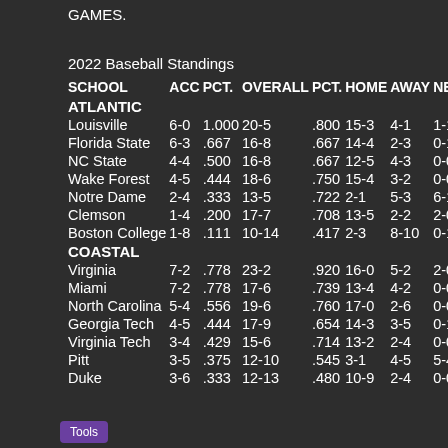GAMES.
2022 Baseball Standings
| SCHOOL | ACC | PCT. | OVERALL | PCT. | HOME | AWAY | NEUTRAL |
| --- | --- | --- | --- | --- | --- | --- | --- |
| ATLANTIC |  |  |  |  |  |  |  |
| Louisville | 6-0 | 1.000 | 20-5 | .800 | 15-3 | 4-1 | 1-1 |
| Florida State | 6-3 | .667 | 16-8 | .667 | 14-4 | 2-3 | 0-1 |
| NC State | 4-4 | .500 | 16-8 | .667 | 12-5 | 4-3 | 0-0 |
| Wake Forest | 4-5 | .444 | 18-6 | .750 | 15-4 | 3-2 | 0-0 |
| Notre Dame | 2-4 | .333 | 13-5 | .722 | 2-1 | 5-3 | 6-1 |
| Clemson | 1-4 | .200 | 17-7 | .708 | 13-5 | 2-2 | 2-0 |
| Boston College | 1-8 | .111 | 10-14 | .417 | 2-3 | 8-10 | 0-1 |
| COASTAL |  |  |  |  |  |  |  |
| Virginia | 7-2 | .778 | 23-2 | .920 | 16-0 | 5-2 | 2-0 |
| Miami | 7-2 | .778 | 17-6 | .739 | 13-4 | 4-2 | 0-0 |
| North Carolina | 5-4 | .556 | 19-6 | .760 | 17-0 | 2-6 | 0-0 |
| Georgia Tech | 4-5 | .444 | 17-9 | .654 | 14-3 | 3-5 | 0-1 |
| Virginia Tech | 3-4 | .429 | 15-6 | .714 | 13-2 | 2-4 | 0-0 |
| Pitt | 3-5 | .375 | 12-10 | .545 | 3-1 | 4-5 | 5-4 |
| Duke | 3-6 | .333 | 12-13 | .480 | 10-9 | 2-4 | 0-0 |